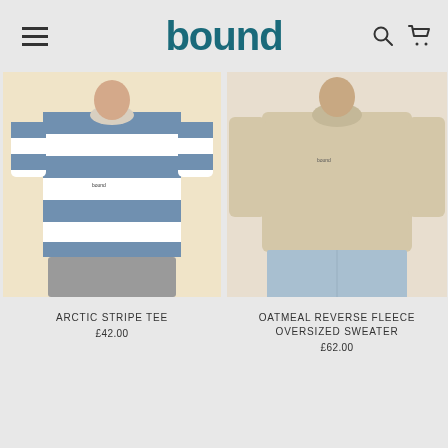bound
[Figure (photo): Man wearing Arctic Stripe Tee - blue and white horizontal striped oversized t-shirt with small 'bound' logo, worn with grey shorts. Cream/beige background.]
ARCTIC STRIPE TEE
£42.00
[Figure (photo): Person wearing Oatmeal Reverse Fleece Oversized Sweater - plain oatmeal/beige sweatshirt with small logo, worn with light blue jeans. Light background.]
OATMEAL REVERSE FLEECE OVERSIZED SWEATER
£62.00